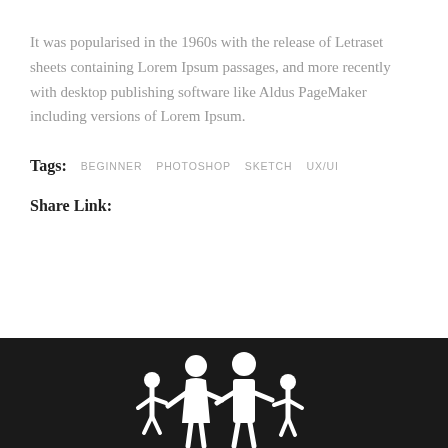It was popularised in the 1960s with the release of Letraset sheets containing Lorem Ipsum passages, and more recently with desktop publishing software like Aldus PageMaker including versions of Lorem Ipsum.
Tags:  BEGINNER  PHOTOSHOP  SKETCH  UX/UI
Share Link:
[Figure (illustration): White silhouette icon of a family (two adults and two children holding hands) on a dark/black background footer bar]